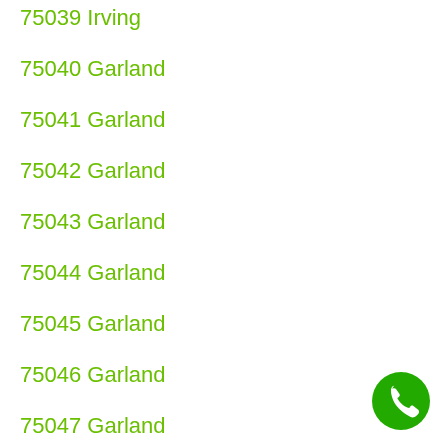75039 Irving
75040 Garland
75041 Garland
75042 Garland
75043 Garland
75044 Garland
75045 Garland
75046 Garland
75047 Garland
[Figure (illustration): Green circular phone/call button icon in bottom-right corner]